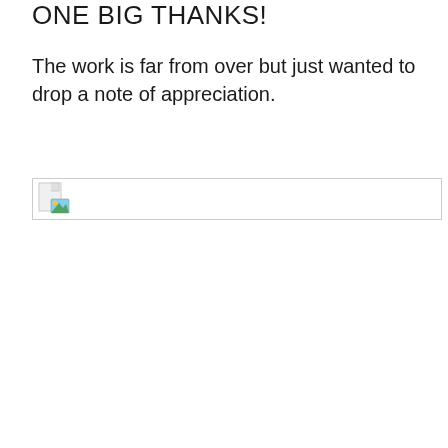ONE BIG THANKS!
The work is far from over but just wanted to drop a note of appreciation.
[Figure (photo): A broken/missing image placeholder icon shown as a small thumbnail with a green and blue icon in the top-left corner, with a thin border, positioned near the bottom-left of the visible area.]